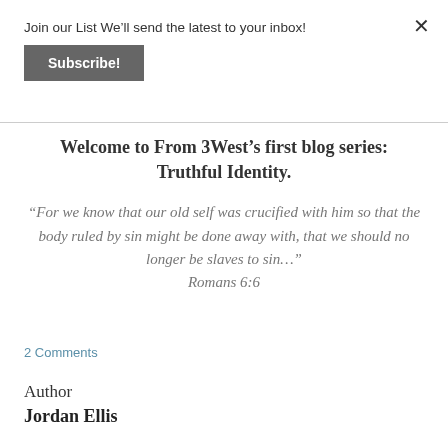Join our List We'll send the latest to your inbox!
Subscribe!
Welcome to From 3West's first blog series: Truthful Identity.
“For we know that our old self was crucified with him so that the body ruled by sin might be done away with, that we should no longer be slaves to sin…” Romans 6:6
2 Comments
Author
Jordan Ellis